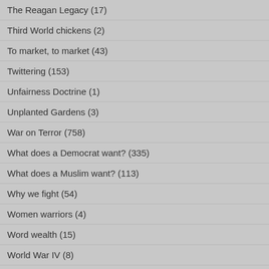The Reagan Legacy (17)
Third World chickens (2)
To market, to market (43)
Twittering (153)
Unfairness Doctrine (1)
Unplanted Gardens (3)
War on Terror (758)
What does a Democrat want? (335)
What does a Muslim want? (113)
Why we fight (54)
Women warriors (4)
Word wealth (15)
World War IV (8)
Bring 'em on!
Rowbotham: The importance of being noticed (scroll down)
[Figure (photo): Photo of a person making a hand gesture]
WE'RE #1!!!!!!!!!!!!!!
(i always be a little jingopistic 'rou...
jingopistic?
Ya'll know i *meant* jingoistic, rig...
;D
A SHEPHERDED WHO CHANGE...
1] His forehead was noble, promi... mind. His smile put joy into you. H... brown, were well opened. His ha... step was as light
as if he were treading on water. W... turned with his whole body. He w... of God.